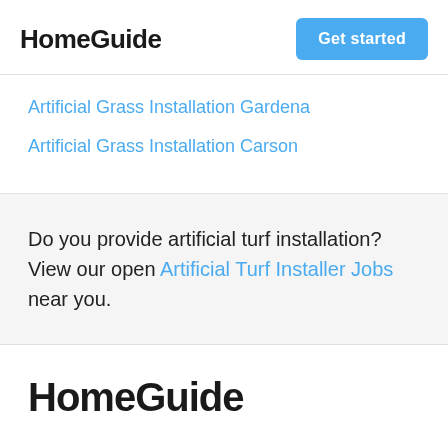HomeGuide
Artificial Grass Installation Gardena
Artificial Grass Installation Carson
Do you provide artificial turf installation? View our open Artificial Turf Installer Jobs near you.
HomeGuide